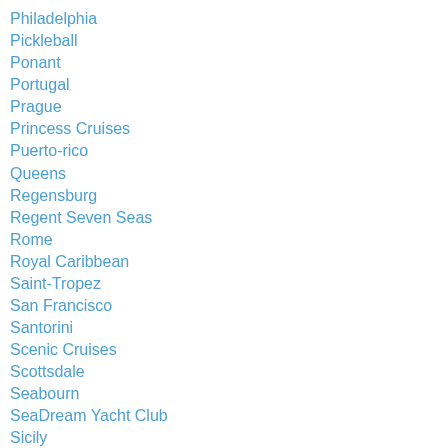Philadelphia
Pickleball
Ponant
Portugal
Prague
Princess Cruises
Puerto-rico
Queens
Regensburg
Regent Seven Seas
Rome
Royal Caribbean
Saint-Tropez
San Francisco
Santorini
Scenic Cruises
Scottsdale
Seabourn
SeaDream Yacht Club
Sicily